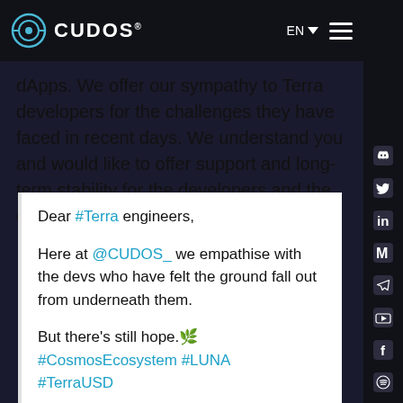CUDOS® | EN
dApps. We offer our sympathy to Terra developers for the challenges they have faced in recent days. We understand you and would like to offer support and long-term stability for the developers and the community looking to start afresh.
Dear #Terra engineers,

Here at @CUDOS_ we empathise with the devs who have felt the ground fall out from underneath them.

But there's still hope. 🌿 #CosmosEcosystem #LUNA #TerraUSD